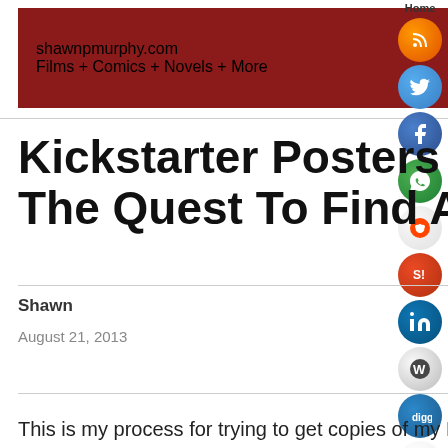[Figure (screenshot): Website header banner for shawnpmurphy.com with dark red background, white text reading 'shawnpmurphy.com', subtitle 'Films + Comics + Novels + More', and glasses graphic on right side]
[Figure (infographic): Social media icon buttons on the right side: RSS (orange), Twitter (blue), Facebook (blue), WhatsApp (green), Reddit (white/red), StumbleUpon (red), LinkedIn (blue), Wordpress (blue), Delicious (dark), Digg (blue), Flickr (pink/white)]
Kickstarter Posters Printed: The Quest To Find A Printer
Shawn
August 21, 2013
0
Comments
This is my process for trying to get copies of my Kickstarter poster printed. I had to find out which place makes the best quality prints, since I never had to before. First, here is a picture from two copies, one from FedEx and one from Staples. Can you tell which is which?